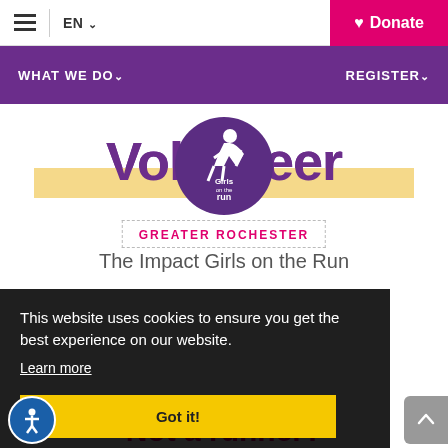≡  |  EN ∨   Donate
WHAT WE DO∨    REGISTER∨
Volunteer
[Figure (logo): Girls on the Run Greater Rochester circular logo with running figure silhouette]
GREATER ROCHESTER
The Impact Girls on the Run
This website uses cookies to ensure you get the best experience on our website.
Learn more
Got it!
Not a runner?